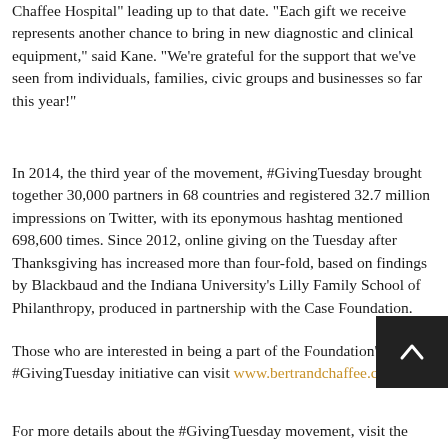Chaffee Hospital" leading up to that date. "Each gift we receive represents another chance to bring in new diagnostic and clinical equipment," said Kane. "We're grateful for the support that we've seen from individuals, families, civic groups and businesses so far this year!"
In 2014, the third year of the movement, #GivingTuesday brought together 30,000 partners in 68 countries and registered 32.7 million impressions on Twitter, with its eponymous hashtag mentioned 698,600 times. Since 2012, online giving on the Tuesday after Thanksgiving has increased more than four-fold, based on findings by Blackbaud and the Indiana University's Lilly Family School of Philanthropy, produced in partnership with the Case Foundation.
Those who are interested in being a part of the Foundation's #GivingTuesday initiative can visit www.bertrandchaffee.com.
For more details about the #GivingTuesday movement, visit the